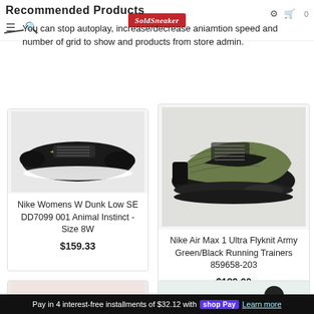Recommended Products
You can stop autoplay, increase/decrease animation speed and number of grid to show and products from store admin.
[Figure (photo): Photo of black Nike Womens W Dunk Low SE sneaker with animal print swoosh]
Nike Womens W Dunk Low SE DD7099 001 Animal Instinct - Size 8W
$159.33
[Figure (photo): Photo of Nike Air Max 1 Ultra Flyknit Army Green/Black Running Trainers sneaker]
Nike Air Max 1 Ultra Flyknit Army Green/Black Running Trainers 859658-203
$189.00
[Figure (photo): Partially visible red Nike sneaker (bottom of page)]
[Figure (photo): Partially visible colorful Nike sneaker (bottom of page)]
Pay in 4 interest-free installments of $32.12 with shop Pay  Learn more